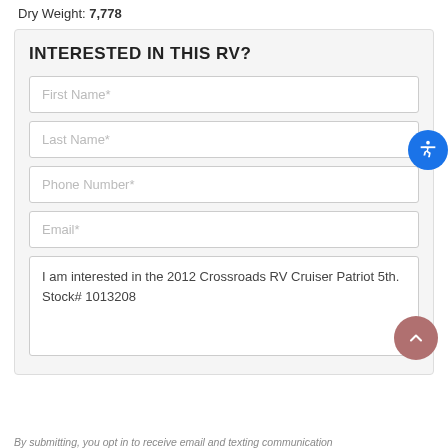Dry Weight: 7,778
INTERESTED IN THIS RV?
First Name*
Last Name*
Phone Number*
Email*
I am interested in the 2012 Crossroads RV Cruiser Patriot 5th. Stock# 1013208
By submitting, you opt in to receive email and texting communication